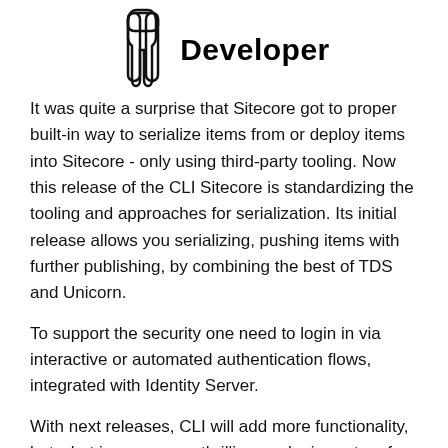[Figure (illustration): Icon of a person (developer figure) with two vertical leg-like shapes, outline style]
Developer
It was quite a surprise that Sitecore got to proper built-in way to serialize items from or deploy items into Sitecore - only using third-party tooling. Now this release of the CLI Sitecore is standardizing the tooling and approaches for serialization. Its initial release allows you serializing, pushing items with further publishing, by combining the best of TDS and Unicorn.
To support the security one need to login in via interactive or automated authentication flows, integrated with Identity Server.
With next releases, CLI will add more functionality, but what is even more thrilling, a plugin system for adding new commands via NuGet is also expected. And since it will cover all the aspects of creating and managing content, one can even create a wrapper over it implementing own version of Content Editor with any set of features (in fact, there's no